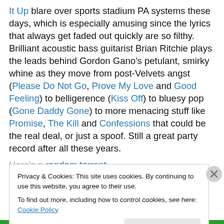It Up blare over sports stadium PA systems these days, which is especially amusing since the lyrics that always get faded out quickly are so filthy. Brilliant acoustic bass guitarist Brian Ritchie plays the leads behind Gordon Gano's petulant, smirky whine as they move from post-Velvets angst (Please Do Not Go, Prove My Love and Good Feeling) to belligerence (Kiss Off) to bluesy pop (Gone Daddy Gone) to more menacing stuff like Promise, The Kill and Confessions that could be the real deal, or just a spoof. Still a great party record after all these years.
Here's a random torrent
Privacy & Cookies: This site uses cookies. By continuing to use this website, you agree to their use.
To find out more, including how to control cookies, see here: Cookie Policy
Close and accept